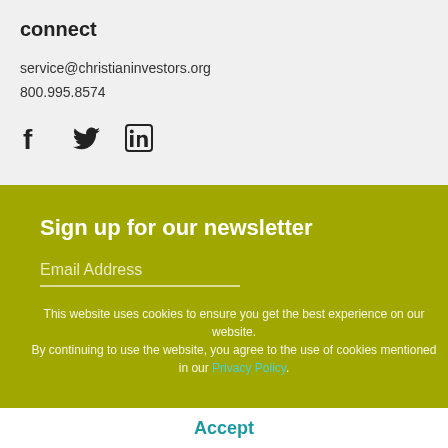connect
service@christianinvestors.org
800.995.8574
[Figure (illustration): Social media icons: Facebook, Twitter, LinkedIn]
Sign up for our newsletter
Email Address
This website uses cookies to ensure you get the best experience on our website.
By continuing to use the website, you agree to the use of cookies mentioned in our Privacy Policy.
Accept